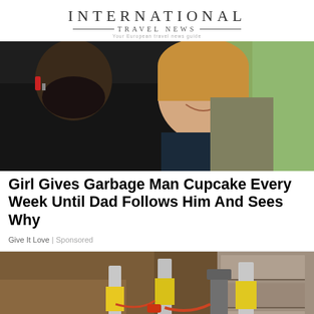INTERNATIONAL TRAVEL NEWS
[Figure (photo): A bearded man and a young smiling child posing together outdoors with green grass in the background]
Girl Gives Garbage Man Cupcake Every Week Until Dad Follows Him And Sees Why
Give It Love | Sponsored
[Figure (photo): Foundation repair equipment showing yellow hydraulic jacks and hoses attached to a stone/concrete foundation wall with exposed soil]